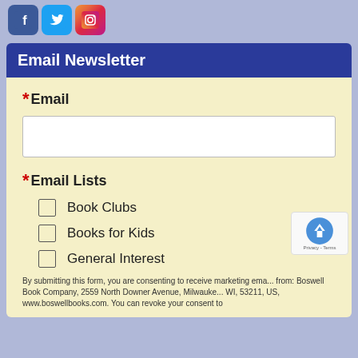[Figure (logo): Social media icons: Facebook (blue), Twitter (light blue), Instagram (gradient)]
Email Newsletter
* Email
* Email Lists
Book Clubs
Books for Kids
General Interest
By submitting this form, you are consenting to receive marketing emails from: Boswell Book Company, 2559 North Downer Avenue, Milwaukee, WI, 53211, US, www.boswellbooks.com. You can revoke your consent to receive emails at any time by using the SafeUnsubscribe® link, found at